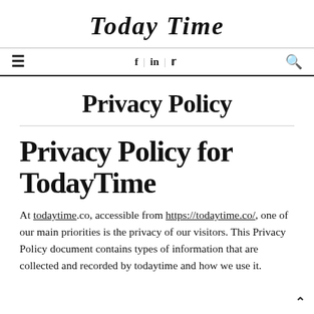Today Time
≡  f | in | 🐦  🔍
Privacy Policy
Privacy Policy for TodayTime
At todaytime.co, accessible from https://todaytime.co/, one of our main priorities is the privacy of our visitors. This Privacy Policy document contains types of information that are collected and recorded by todaytime and how we use it.